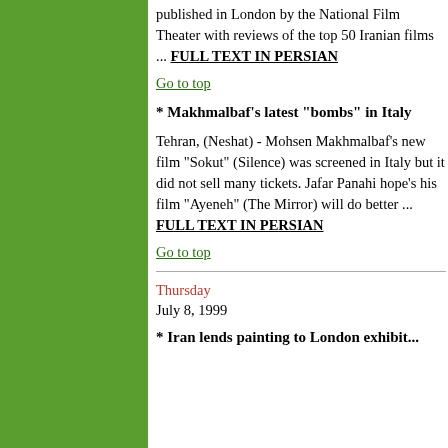published in London by the National Film Theater with reviews of the top 50 Iranian films ... FULL TEXT IN PERSIAN
Go to top
* Makhmalbaf's latest "bombs" in Italy
Tehran, (Neshat) - Mohsen Makhmalbaf's new film "Sokut" (Silence) was screened in Italy but it did not sell many tickets. Jafar Panahi hope's his film "Ayeneh" (The Mirror) will do better ... FULL TEXT IN PERSIAN
Go to top
Thursday
July 8, 1999
* Iran lends painting to London exhibit...